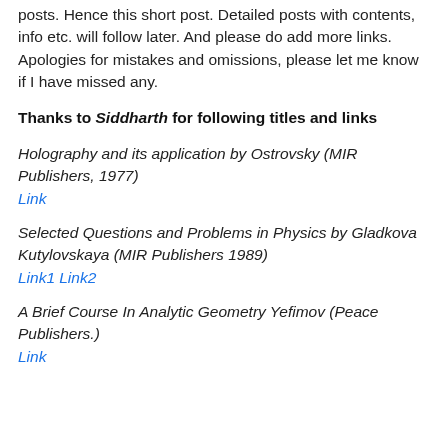posts. Hence this short post. Detailed posts with contents, info etc. will follow later. And please do add more links. Apologies for mistakes and omissions, please let me know if I have missed any.
Thanks to Siddharth for following titles and links
Holography and its application by Ostrovsky (MIR Publishers, 1977)
Link
Selected Questions and Problems in Physics by Gladkova Kutylovskaya (MIR Publishers 1989)
Link1 Link2
A Brief Course In Analytic Geometry Yefimov (Peace Publishers.)
Link